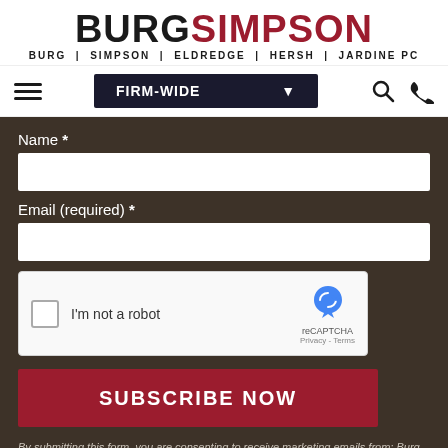[Figure (logo): Burg Simpson law firm logo with text BURGSIMPSON and tagline BURG | SIMPSON | ELDREDGE | HERSH | JARDINE PC]
[Figure (screenshot): Navigation bar with hamburger menu, FIRM-WIDE dropdown button, search icon, and phone icon]
Name *
[Figure (screenshot): Name input field (empty text box)]
Email (required) *
[Figure (screenshot): Email input field (empty text box)]
[Figure (screenshot): reCAPTCHA widget with checkbox labeled I'm not a robot]
[Figure (screenshot): SUBSCRIBE NOW button in dark red]
By submitting this form, you are consenting to receive marketing emails from: Burg Simpson, 40 Inverness Drive East, Englewood, CO, 80112, https://www.burgsimpson.com. You can